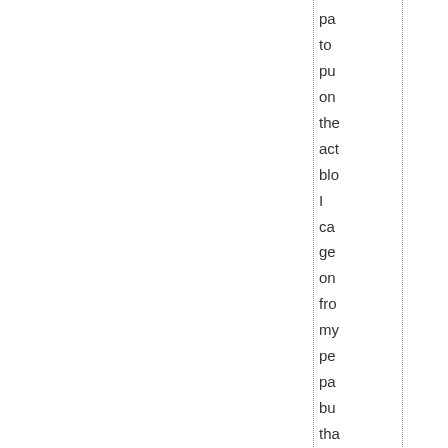pa to pu on the act blo I ca ge on fro my pe pa bu tha de the pu Wh a pa